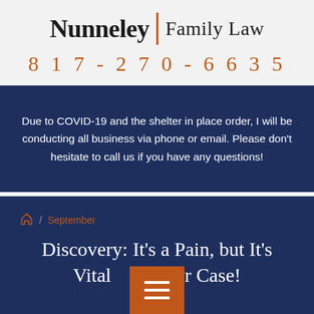[Figure (logo): Nunneley Family Law logo with orange vertical divider between 'Nunneley' and 'Family Law']
817-270-6635
Due to COVID-19 and the shelter in place order, I will be conducting all business via phone or email. Please don't hesitate to call us if you have any questions!
September
Discovery: It's a Pain, but It's Vital to your Case!